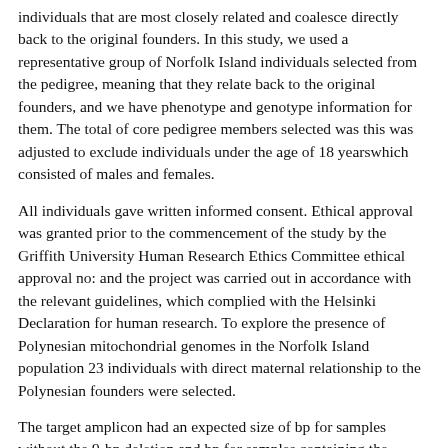individuals that are most closely related and coalesce directly back to the original founders. In this study, we used a representative group of Norfolk Island individuals selected from the pedigree, meaning that they relate back to the original founders, and we have phenotype and genotype information for them. The total of core pedigree members selected was this was adjusted to exclude individuals under the age of 18 yearswhich consisted of males and females.
All individuals gave written informed consent. Ethical approval was granted prior to the commencement of the study by the Griffith University Human Research Ethics Committee ethical approval no: and the project was carried out in accordance with the relevant guidelines, which complied with the Helsinki Declaration for human research. To explore the presence of Polynesian mitochondrial genomes in the Norfolk Island population 23 individuals with direct maternal relationship to the Polynesian founders were selected.
The target amplicon had an expected size of bp for samples without the 9-bp deletion and bp for samples containing the deletion. Genotyping of the 9-bp deletion involved the use of fluorescently labelled primers. Fragment lengths were accurately determined after detection by automated gel capillary electrophoresis.